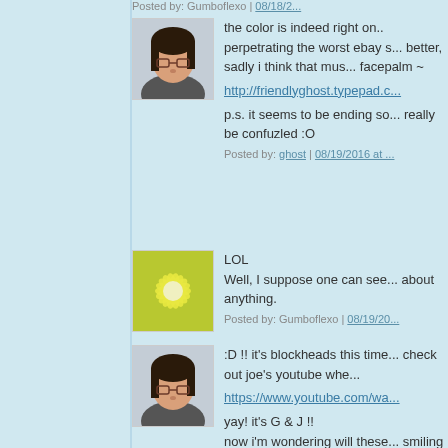Posted by: Gumboflexo | 08/18/2...
[Figure (photo): Avatar photo of a person with dark hair and glasses]
the color is indeed right on.. perpetrating the worst ebay s... better, sadly i think that mus... facepalm ~ http://friendlyghost.typepad.c... p.s. it seems to be ending so... really be confuzled :O
Posted by: ghost | 08/19/2016 at ...
[Figure (illustration): Green flower/starburst pattern avatar on yellow-green background]
LOL
Well, I suppose one can see... about anything.
Posted by: Gumboflexo | 08/19/20...
[Figure (photo): Avatar photo of a person with dark hair and glasses]
:D !! it's blockheads this time... check out joe's youtube whe... https://www.youtube.com/wa... yay! it's G & J !! now i'm wondering will these smiling or frowning like in thi...